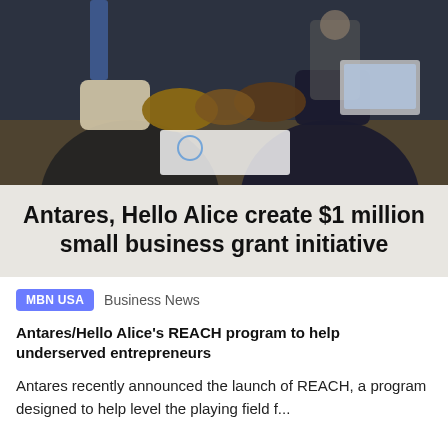[Figure (photo): Business handshake scene with two people in suits shaking hands over a desk, with charts visible on the desk and another person in the background]
Antares, Hello Alice create $1 million small business grant initiative
MBN USA   Business News
Antares/Hello Alice's REACH program to help underserved entrepreneurs
Antares recently announced the launch of REACH, a program designed to help level the playing field f...